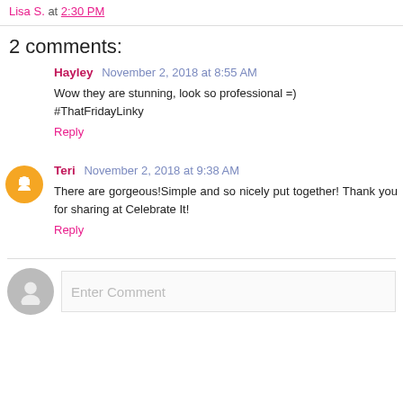Lisa S. at 2:30 PM
2 comments:
Hayley  November 2, 2018 at 8:55 AM
Wow they are stunning, look so professional =)
#ThatFridayLinky
Reply
Teri  November 2, 2018 at 9:38 AM
There are gorgeous!Simple and so nicely put together! Thank you for sharing at Celebrate It!
Reply